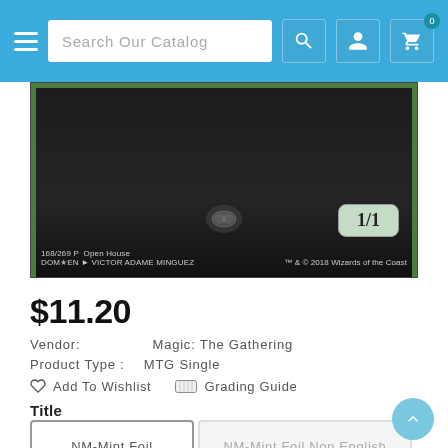Search Our Catalog
[Figure (photo): Bottom portion of a Magic: The Gathering card showing 1/1 power/toughness, set info 168/269 P Open House, DOM*EN, art by Victor Adame Minguez, TM & 2018 Wizards of the Coast]
$11.20
Vendor: Magic: The Gathering
Product Type: MTG Single
Add To Wishlist   Grading Guide
Title
NM-Mint Foil
NM-Mint Foil Non English
Lightly Played Foil